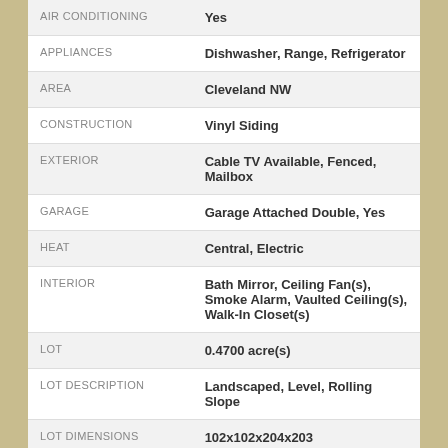| Field | Value |
| --- | --- |
| AIR CONDITIONING | Yes |
| APPLIANCES | Dishwasher, Range, Refrigerator |
| AREA | Cleveland NW |
| CONSTRUCTION | Vinyl Siding |
| EXTERIOR | Cable TV Available, Fenced, Mailbox |
| GARAGE | Garage Attached Double, Yes |
| HEAT | Central, Electric |
| INTERIOR | Bath Mirror, Ceiling Fan(s), Smoke Alarm, Vaulted Ceiling(s), Walk-In Closet(s) |
| LOT | 0.4700 acre(s) |
| LOT DESCRIPTION | Landscaped, Level, Rolling Slope |
| LOT DIMENSIONS | 102x102x204x203 |